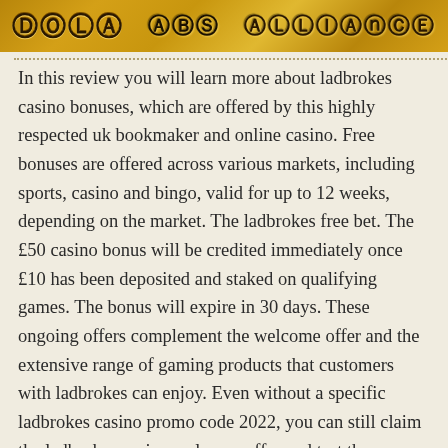[Figure (illustration): Golden decorative banner with ornate letter/logo designs for Ladbrokes casino]
In this review you will learn more about ladbrokes casino bonuses, which are offered by this highly respected uk bookmaker and online casino. Free bonuses are offered across various markets, including sports, casino and bingo, valid for up to 12 weeks, depending on the market. The ladbrokes free bet. The £50 casino bonus will be credited immediately once £10 has been deposited and staked on qualifying games. The bonus will expire in 30 days. These ongoing offers complement the welcome offer and the extensive range of gaming products that customers with ladbrokes can enjoy. Even without a specific ladbrokes casino promo code 2022, you can still claim the ladbrokes casino welcome offer and test the different possibilities offered in. Are there no